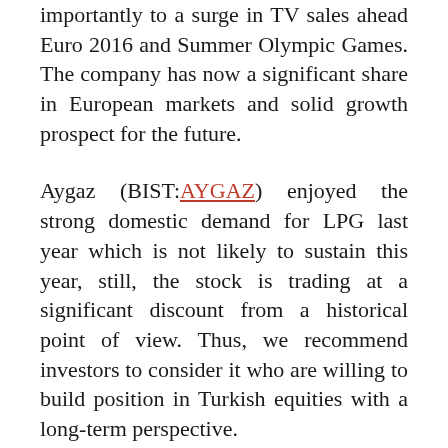importantly to a surge in TV sales ahead Euro 2016 and Summer Olympic Games. The company has now a significant share in European markets and solid growth prospect for the future.
Aygaz (BIST:AYGAZ) enjoyed the strong domestic demand for LPG last year which is not likely to sustain this year, still, the stock is trading at a significant discount from a historical point of view. Thus, we recommend investors to consider it who are willing to build position in Turkish equities with a long-term perspective.
Eregli Demir ve Celik Fabrikalari (BIST:EREGL) has been one of top traded industrial stocks in